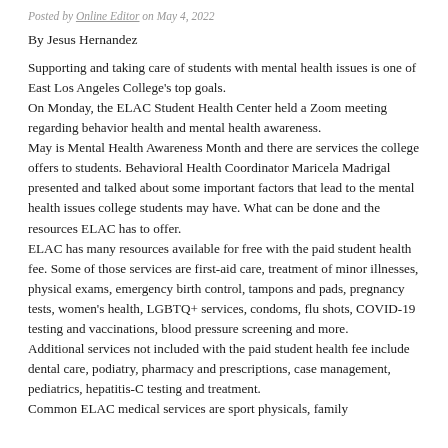Posted by Online Editor on May 4, 2022
By Jesus Hernandez
Supporting and taking care of students with mental health issues is one of East Los Angeles College's top goals.
On Monday, the ELAC Student Health Center held a Zoom meeting regarding behavior health and mental health awareness.
May is Mental Health Awareness Month and there are services the college offers to students. Behavioral Health Coordinator Maricela Madrigal presented and talked about some important factors that lead to the mental health issues college students may have. What can be done and the resources ELAC has to offer.
ELAC has many resources available for free with the paid student health fee. Some of those services are first-aid care, treatment of minor illnesses, physical exams, emergency birth control, tampons and pads, pregnancy tests, women's health, LGBTQ+ services, condoms, flu shots, COVID-19 testing and vaccinations, blood pressure screening and more.
Additional services not included with the paid student health fee include dental care, podiatry, pharmacy and prescriptions, case management, pediatrics, hepatitis-C testing and treatment.
Common ELAC medical services are sport physicals, family